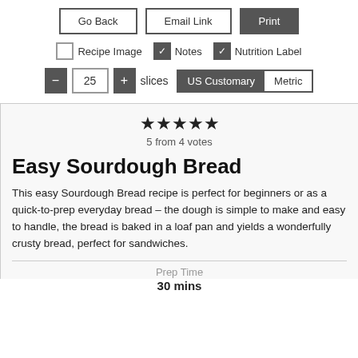[Figure (screenshot): UI controls: Go Back, Email Link, Print buttons; Recipe Image, Notes, Nutrition Label checkboxes; quantity selector showing 25 slices; US Customary / Metric toggle]
Easy Sourdough Bread
5 from 4 votes
This easy Sourdough Bread recipe is perfect for beginners or as a quick-to-prep everyday bread – the dough is simple to make and easy to handle, the bread is baked in a loaf pan and yields a wonderfully crusty bread, perfect for sandwiches.
Prep Time
30 mins